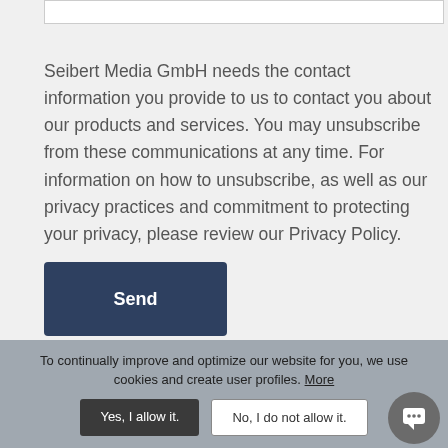Seibert Media GmbH needs the contact information you provide to us to contact you about our products and services. You may unsubscribe from these communications at any time. For information on how to unsubscribe, as well as our privacy practices and commitment to protecting your privacy, please review our Privacy Policy.
Send
To continually improve and optimize our website for you, we use cookies and create user profiles. More
Yes, I allow it.
No, I do not allow it.